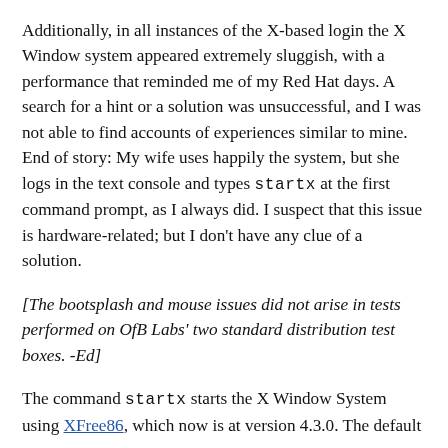Additionally, in all instances of the X-based login the X Window system appeared extremely sluggish, with a performance that reminded me of my Red Hat days. A search for a hint or a solution was unsuccessful, and I was not able to find accounts of experiences similar to mine. End of story: My wife uses happily the system, but she logs in the text console and types startx at the first command prompt, as I always did. I suspect that this issue is hardware-related; but I don't have any clue of a solution.
[The bootsplash and mouse issues did not arise in tests performed on OfB Labs' two standard distribution test boxes. -Ed]
The command startx starts the X Window System using XFree86, which now is at version 4.3.0. The default